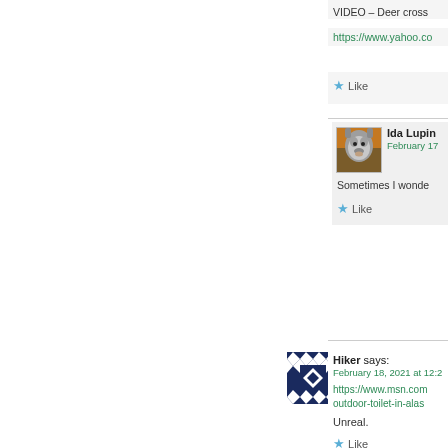VIDEO – Deer cross
https://www.yahoo.co
Like
[Figure (photo): Wolf avatar photo for Ida Lupino commenter]
Ida Lupin
February 17
Sometimes I wonde
Like
[Figure (illustration): Geometric pattern avatar for Hiker commenter - dark blue and white diamond/square pattern]
Hiker says:
February 18, 2021 at 12:2
https://www.msn.com outdoor-toilet-in-alas
Unreal.
Like